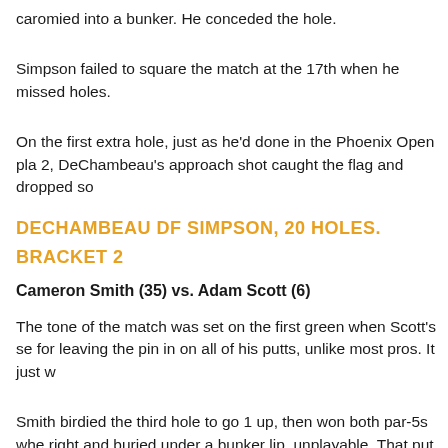caromied into a bunker. He conceded the hole.
Simpson failed to square the match at the 17th when he missed holes.
On the first extra hole, just as he'd done in the Phoenix Open pla 2, DeChambeau's approach shot caught the flag and dropped so
DECHAMBEAU DF SIMPSON, 20 HOLES.
BRACKET 2
Cameron Smith (35) vs. Adam Scott (6)
The tone of the match was set on the first green when Scott's se for leaving the pin in on all of his putts, unlike most pros. It just w
Smith birdied the third hole to go 1 up, then won both par-5s whe right and buried under a bunker lip, unplayable. That put him 4 d
Smith, a fellow Aussie, laid up at the short 12th but Scott, trailing